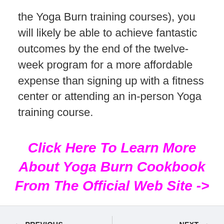the Yoga Burn training courses), you will likely be able to achieve fantastic outcomes by the end of the twelve-week program for a more affordable expense than signing up with a fitness center or attending an in-person Yoga training course.
Click Here To Learn More About Yoga Burn Cookbook From The Official Web Site ->
← PREVIOUS
Dr Vincent Lam And Leanbiome
NEXT →
Buy Javaburn In Hayward California